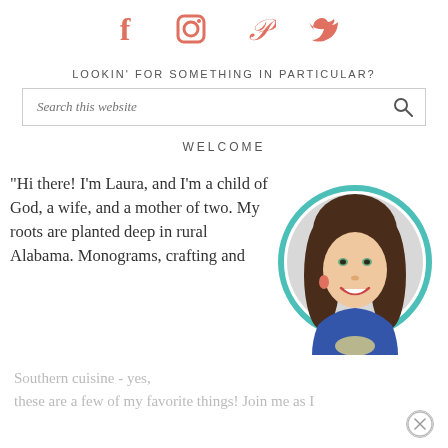[Figure (illustration): Social media icons: Facebook, Instagram, Pinterest, Twitter in coral/salmon color]
LOOKIN' FOR SOMETHING IN PARTICULAR?
[Figure (screenshot): Search box with italic placeholder text 'Search this website' and a magnifying glass icon]
WELCOME
"Hi there! I'm Laura, and I'm a child of God, a wife, and a mother of two. My roots are planted deep in rural Alabama. Monograms, crafting and Southern cuisine - yes, these are a few of my favorite things! Join me as I
[Figure (photo): Circular photo of a smiling woman with long brown hair, wearing a blue top, with a teal/turquoise circular border]